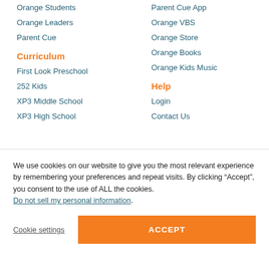Orange Students
Orange Leaders
Parent Cue
Curriculum
First Look Preschool
252 Kids
XP3 Middle School
XP3 High School
Parent Cue App
Orange VBS
Orange Store
Orange Books
Orange Kids Music
Help
Login
Contact Us
We use cookies on our website to give you the most relevant experience by remembering your preferences and repeat visits. By clicking “Accept”, you consent to the use of ALL the cookies. Do not sell my personal information.
Cookie settings
ACCEPT